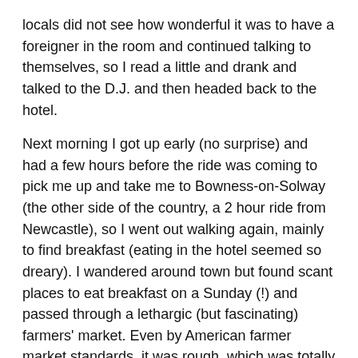locals did not see how wonderful it was to have a foreigner in the room and continued talking to themselves, so I read a little and drank and talked to the D.J. and then headed back to the hotel.
Next morning I got up early (no surprise) and had a few hours before the ride was coming to pick me up and take me to Bowness-on-Solway (the other side of the country, a 2 hour ride from Newcastle), so I went out walking again, mainly to find breakfast (eating in the hotel seemed so dreary). I wandered around town but found scant places to eat breakfast on a Sunday (!) and passed through a lethargic (but fascinating) farmers' market. Even by American farmer market standards, it was rough, which was totally cool — bones left out in the open; slabs of meat hanging. And my favorite place in the whole city thus far: The Weigh Room. In it: A woman. A desk. And a big honkin' green scale. While I lingered, several individuals came in, paid a few pence, stood on the scale, got their weight recorded on a small red ticket, got the ticket from the